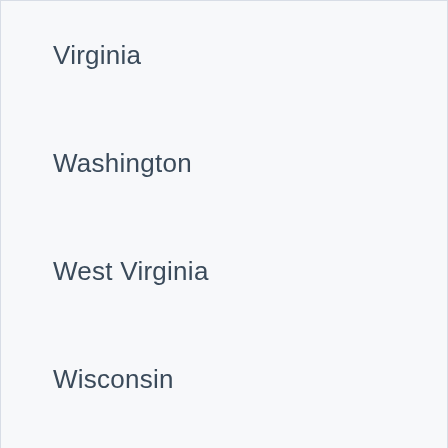Virginia
Washington
West Virginia
Wisconsin
Wyoming
Payday Loans Vernon AL
Apply Now
Applying does NOT affect your credit score! No credit check to apply.